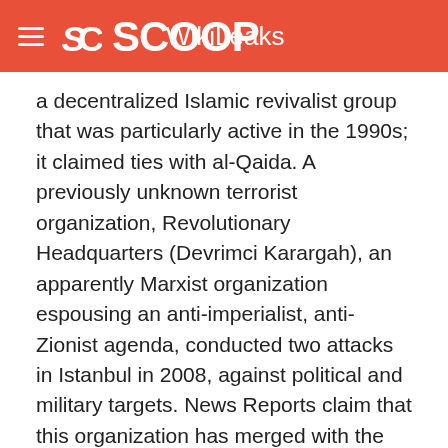SCOOP WikiLeaks
a decentralized Islamic revivalist group that was particularly active in the 1990s; it claimed ties with al-Qaida. A previously unknown terrorist organization, Revolutionary Headquarters (Devrimci Karargah), an apparently Marxist organization espousing an anti-imperialist, anti-Zionist agenda, conducted two attacks in Istanbul in 2008, against political and military targets. News Reports claim that this organization has merged with the remains of a formerly active and bloody organization, DEV-SOL (Revolutionary Left).